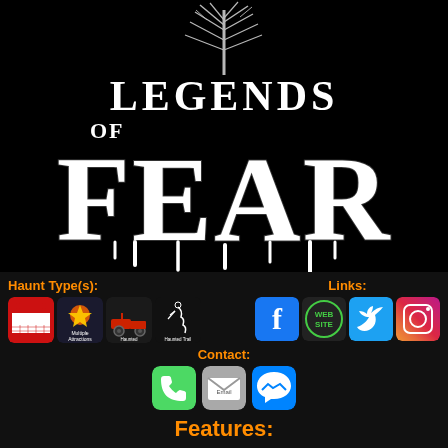[Figure (logo): Legends of Fear logo with bare tree silhouette at top, large stylized horror font spelling LEGENDS OF FEAR in white on black background]
Haunt Type(s):
[Figure (infographic): Four haunt type icons: Dates & Hours (red calendar icon), Multiple Attractions (haunted castle icon), Haunted Hayride (tractor icon), Haunted Trail (figure icon)]
Links:
[Figure (infographic): Four social/web link icons: Facebook (blue F), Website (green WEB SITE badge), Twitter (blue bird), Instagram (gradient camera)]
Contact:
[Figure (infographic): Three contact icons: Phone (green phone icon), Email (grey envelope icon), Messenger (blue messenger icon)]
Features: